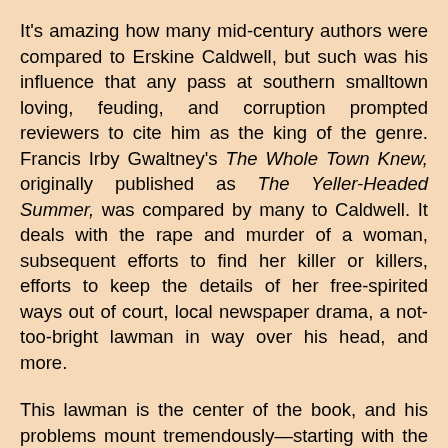It's amazing how many mid-century authors were compared to Erskine Caldwell, but such was his influence that any pass at southern smalltown loving, feuding, and corruption prompted reviewers to cite him as the king of the genre. Francis Irby Gwaltney's The Whole Town Knew, originally published as The Yeller-Headed Summer, was compared by many to Caldwell. It deals with the rape and murder of a woman, subsequent efforts to find her killer or killers, efforts to keep the details of her free-spirited ways out of court, local newspaper drama, a not-too-bright lawman in way over his head, and more.
This lawman is the center of the book, and his problems mount tremendously—starting with the fact that he's supposed to leave influential members of the community alone and stick to policing poor and powerless folk. Art imitates life, right? The town of Walnut Creek was close kin to the burgs from Caldwell's oeuvre, as were the antics of the townspeople, but the book was well reviewed, leading to Irby...